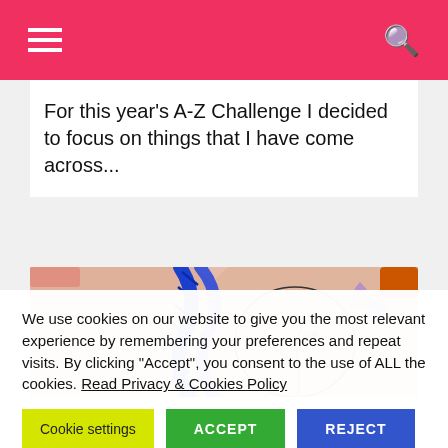Navigation bar with hamburger menu and search icon
For this year's A-Z Challenge I decided to focus on things that I have come across...
[Figure (photo): Close-up photo of a person's back showing a floral tattoo with pink lilies and purple flowers, with a blue braided rope crossing diagonally]
We use cookies on our website to give you the most relevant experience by remembering your preferences and repeat visits. By clicking "Accept", you consent to the use of ALL the cookies. Read Privacy & Cookies Policy
Cookie settings | ACCEPT | REJECT